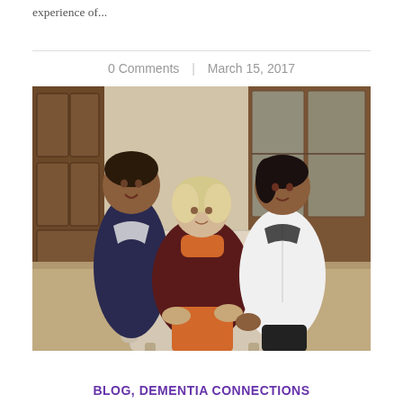experience of...
0 Comments   |   March 15, 2017
[Figure (photo): An elderly woman seated in a cream armchair, flanked by two caregivers/nurses. The caregiver on the left wears a dark navy uniform and smiles warmly. The caregiver on the right wears a white nursing uniform. The setting appears to be a home with wooden furniture and cabinetry in the background.]
BLOG, DEMENTIA CONNECTIONS